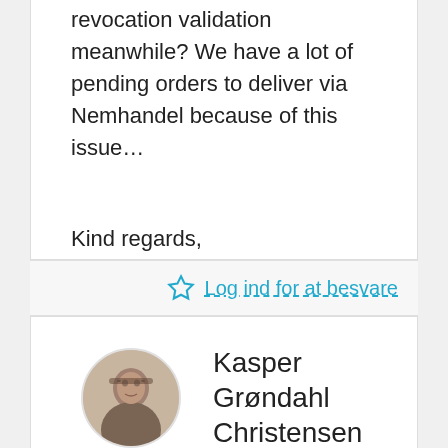revocation validation meanwhile? We have a lot of pending orders to deliver via Nemhandel because of this issue…
Kind regards,

Dmitriy Lapko

Mercell A/S
Log ind for at besvare
Kasper Grøndahl Christensen